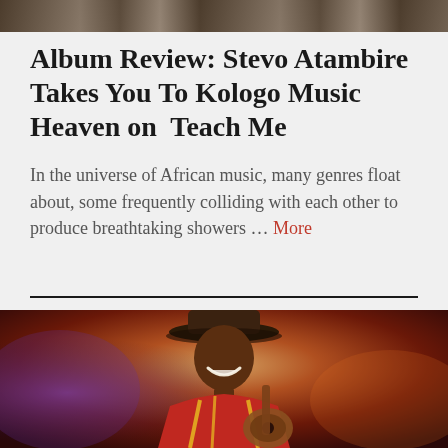[Figure (photo): Top portion of a photo showing performers or musicians, cropped at the top of the page]
Album Review: Stevo Atambire Takes You To Kologo Music Heaven on  Teach Me
In the universe of African music, many genres float about, some frequently colliding with each other to produce breathtaking showers ... More
[Figure (photo): Photo of a smiling male musician wearing a wide-brimmed hat and colorful red/yellow outfit, playing guitar, performing on stage with purple and orange lighting]